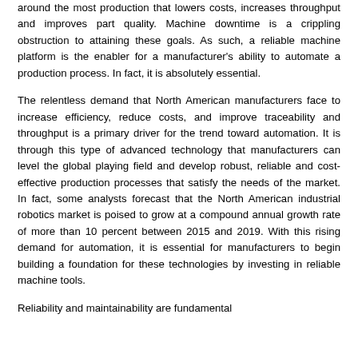around the most production that lowers costs, increases throughput and improves part quality. Machine downtime is a crippling obstruction to attaining these goals. As such, a reliable machine platform is the enabler for a manufacturer's ability to automate a production process. In fact, it is absolutely essential.
The relentless demand that North American manufacturers face to increase efficiency, reduce costs, and improve traceability and throughput is a primary driver for the trend toward automation. It is through this type of advanced technology that manufacturers can level the global playing field and develop robust, reliable and cost-effective production processes that satisfy the needs of the market. In fact, some analysts forecast that the North American industrial robotics market is poised to grow at a compound annual growth rate of more than 10 percent between 2015 and 2019. With this rising demand for automation, it is essential for manufacturers to begin building a foundation for these technologies by investing in reliable machine tools.
Reliability and maintainability are fundamental